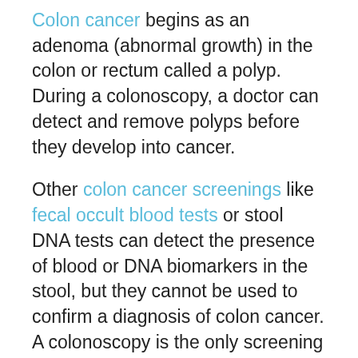Colon cancer begins as an adenoma (abnormal growth) in the colon or rectum called a polyp. During a colonoscopy, a doctor can detect and remove polyps before they develop into cancer.
Other colon cancer screenings like fecal occult blood tests or stool DNA tests can detect the presence of blood or DNA biomarkers in the stool, but they cannot be used to confirm a diagnosis of colon cancer. A colonoscopy is the only screening that includes a visual exam of the entire colon and rectum. Using a colonoscope, a gastroenterologist can view the colon on a screen and remove any developing polyps.
The rate for detecting these polyps is the